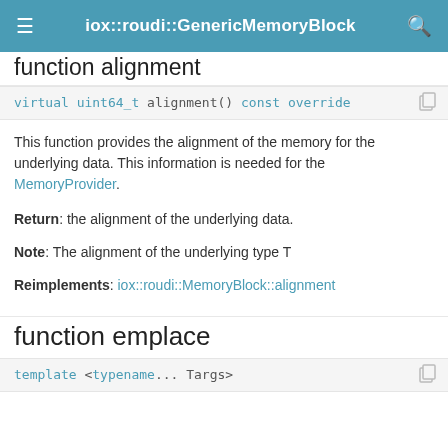iox::roudi::GenericMemoryBlock
function alignment
This function provides the alignment of the memory for the underlying data. This information is needed for the MemoryProvider.
Return: the alignment of the underlying data.
Note: The alignment of the underlying type T
Reimplements: iox::roudi::MemoryBlock::alignment
function emplace